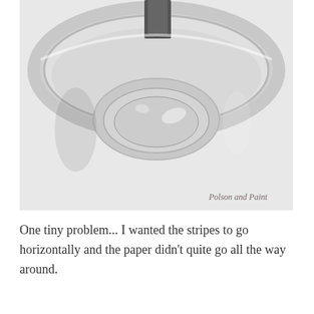[Figure (photo): Top-down view of a clear glass cup/mug showing the interior from above. A dark gray rectangular strip of paper (tape or label) is visible at the top of the inside of the glass. The glass is sitting on a light gray/white surface. A watermark in the lower right reads 'Polson and Paint' in cursive script.]
One tiny problem... I wanted the stripes to go horizontally and the paper didn't quite go all the way around.